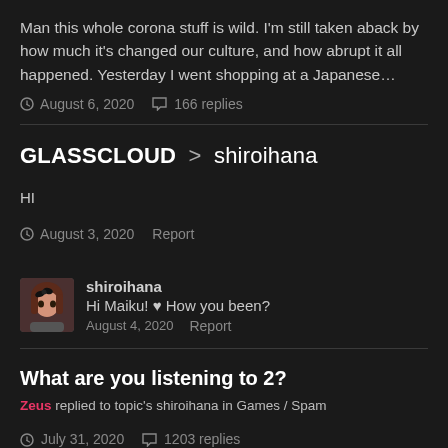Man this whole corona stuff is wild. I'm still taken aback by how much it's changed our culture, and how abrupt it all happened. Yesterday I went shopping at a Japanese…
August 6, 2020   166 replies
GLASSCLOUD > shiroihana
HI
August 3, 2020   Report
shiroihana
Hi Maiku! ♥ How you been?
August 4, 2020   Report
What are you listening to 2?
Zeus replied to topic's shiroihana in Games / Spam
July 31, 2020   1203 replies